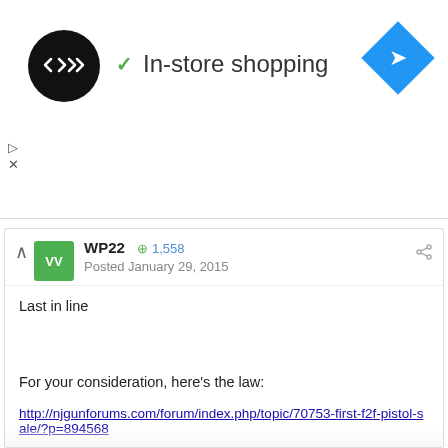[Figure (logo): Ad banner with circular black logo containing infinity-like arrow symbol, 'In-store shopping' text with green checkmark, and blue diamond navigation icon on the right]
WP22  ⊕ 1,558
Posted January 29, 2015
Last in line
For your consideration, here's the law:
http://njgunforums.com/forum/index.php/topic/70753-first-f2f-pistol-sale/?p=894568